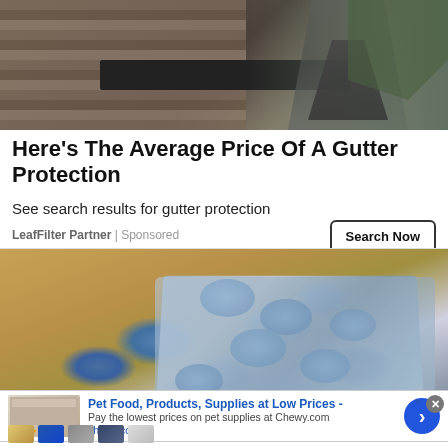[Figure (photo): Worker cleaning or inspecting a roof gutter, wearing work clothes and tool belt, with roofing shingles visible]
Here's The Average Price Of A Gutter Protection
See search results for gutter protection
LeafFilter Partner | Sponsored
Search Now
[Figure (photo): Close-up photo of blue pills in a blister pack on a wooden surface]
[Figure (screenshot): Advertisement banner for Chewy.com: Pet Food, Products, Supplies at Low Prices - Pay the lowest prices on pet supplies at Chewy.com, chewy.com, with arrow button and thumbnail images]